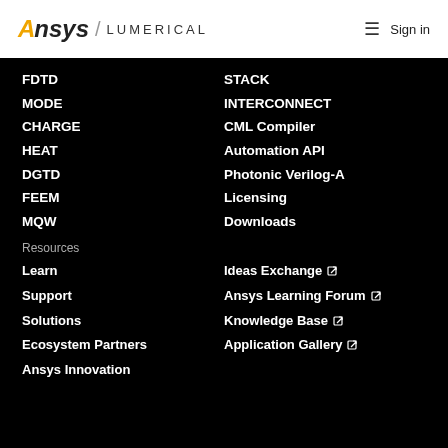[Figure (logo): Ansys Lumerical logo with hamburger menu and Sign in button]
FDTD
MODE
CHARGE
HEAT
DGTD
FEEM
MQW
STACK
INTERCONNECT
CML Compiler
Automation API
Photonic Verilog-A
Licensing
Downloads
Resources
Learn
Support
Solutions
Ecosystem Partners
Ansys Innovation
Ideas Exchange ↗
Ansys Learning Forum ↗
Knowledge Base ↗
Application Gallery ↗